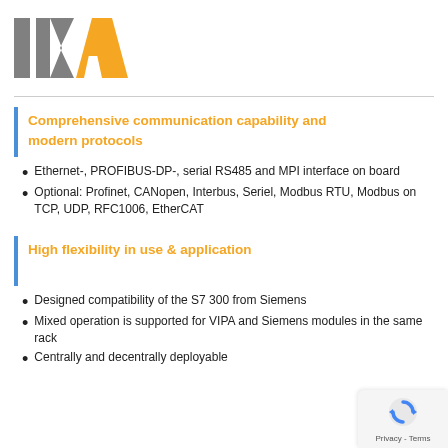[Figure (logo): IKAA logo with stylized grey I-K and orange AA letters]
Comprehensive communication capability and modern protocols
Ethernet-, PROFIBUS-DP-, serial RS485 and MPI interface on board
Optional: Profinet, CANopen, Interbus, Seriel, Modbus RTU, Modbus on TCP, UDP, RFC1006, EtherCAT
High flexibility in use & application
Designed compatibility of the S7 300 from Siemens
Mixed operation is supported for VIPA and Siemens modules in the same rack
Centrally and decentrally deployable